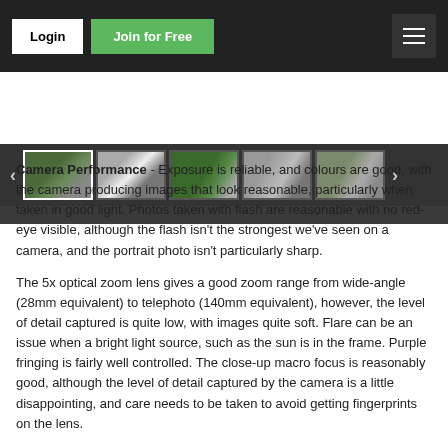Login | Join for Free
[Figure (photo): Website navigation bar with Login and Join for Free buttons and hamburger menu, with a gallery strip showing 5 camera photo thumbnails with left/right navigation arrows on a dark background.]
Camera Performance - Exposure is reliable, and colours are good, with the camera producing images that look reasonable, particularly when taken in good light. Photos taken with flash are reasonable with no red-eye visible, although the flash isn't the strongest we've seen on a camera, and the portrait photo isn't particularly sharp.
The 5x optical zoom lens gives a good zoom range from wide-angle (28mm equivalent) to telephoto (140mm equivalent), however, the level of detail captured is quite low, with images quite soft. Flare can be an issue when a bright light source, such as the sun is in the frame. Purple fringing is fairly well controlled. The close-up macro focus is reasonably good, although the level of detail captured by the camera is a little disappointing, and care needs to be taken to avoid getting fingerprints on the lens.